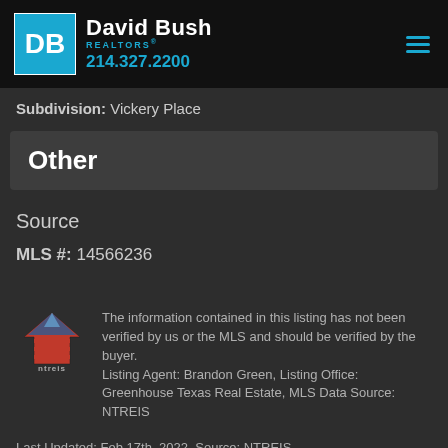David Bush REALTORS 214.327.2200
Subdivision: Vickery Place
Other
Source
MLS #: 14566236
The information contained in this listing has not been verified by us or the MLS and should be verified by the buyer. Listing Agent: Brandon Green, Listing Office: Greenhouse Texas Real Estate, MLS Data Source: NTREIS
Last Updated: Feb 17th, 2022. Source: NTREIS